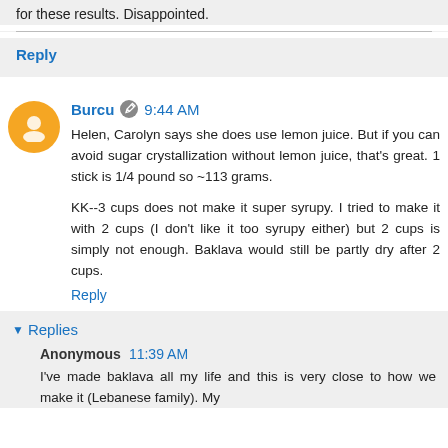for these results. Disappointed.
Reply
Burcu  9:44 AM
Helen, Carolyn says she does use lemon juice. But if you can avoid sugar crystallization without lemon juice, that's great. 1 stick is 1/4 pound so ~113 grams.

KK--3 cups does not make it super syrupy. I tried to make it with 2 cups (I don't like it too syrupy either) but 2 cups is simply not enough. Baklava would still be partly dry after 2 cups.
Reply
Replies
Anonymous  11:39 AM
I've made baklava all my life and this is very close to how we make it (Lebanese family). My